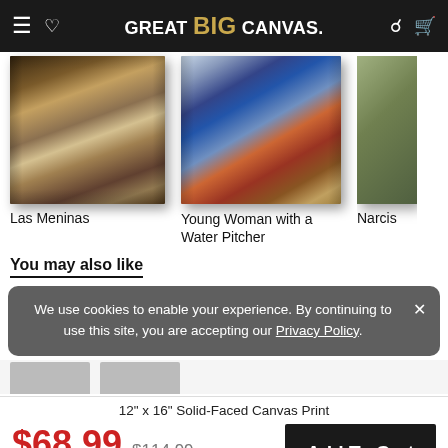GREAT BIG CANVAS.
[Figure (photo): Painting canvas print of Las Meninas by Velázquez]
Las Meninas
[Figure (photo): Painting canvas print of Young Woman with a Water Pitcher by Vermeer]
Young Woman with a Water Pitcher
Narcis
You may also like
We use cookies to enable your experience. By continuing to use this site, you are accepting our Privacy Policy.
12" x 16" Solid-Faced Canvas Print
$68.99  $114.99
40% OFF - Ends Soon!